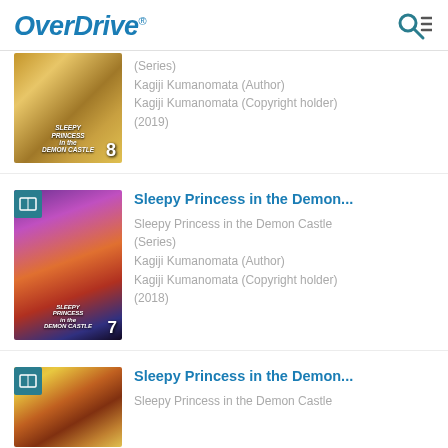OverDrive
[Figure (illustration): Manga book cover for Sleepy Princess in the Demon Castle (partial, top cut off), volume 8]
(Series)
Kagiji Kumanomata (Author)
Kagiji Kumanomata (Copyright holder)
(2019)
[Figure (illustration): Manga book cover for Sleepy Princess in the Demon Castle]
Sleepy Princess in the Demon...
Sleepy Princess in the Demon Castle
(Series)
Kagiji Kumanomata (Author)
Kagiji Kumanomata (Copyright holder)
(2018)
[Figure (illustration): Manga book cover for Sleepy Princess in the Demon Castle (partial, bottom cut off)]
Sleepy Princess in the Demon...
Sleepy Princess in the Demon Castle